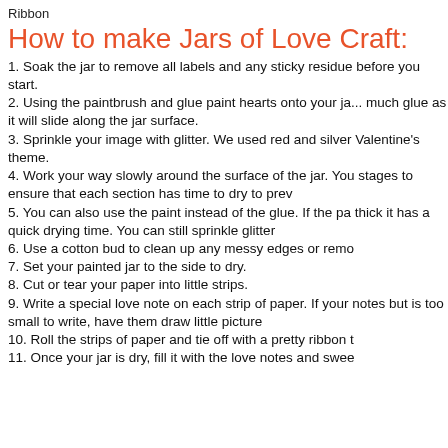Ribbon
How to make Jars of Love Craft:
1. Soak the jar to remove all labels and any sticky residue before you start.
2. Using the paintbrush and glue paint hearts onto your jar. Don't use too much glue as it will slide along the jar surface.
3. Sprinkle your image with glitter. We used red and silver glitter for a Valentine's theme.
4. Work your way slowly around the surface of the jar. You may need to do it in stages to ensure that each section has time to dry to prev...
5. You can also use the paint instead of the glue. If the paint is thick it has a quick drying time. You can still sprinkle glitter...
6. Use a cotton bud to clean up any messy edges or remo...
7. Set your painted jar to the side to dry.
8. Cut or tear your paper into little strips.
9. Write a special love note on each strip of paper. If your child loves writing notes but is too small to write, have them draw little picture...
10. Roll the strips of paper and tie off with a pretty ribbon t...
11. Once your jar is dry, fill it with the love notes and swee...